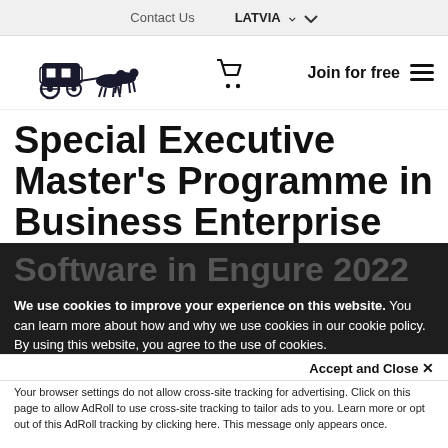Contact Us   LATVIA
[Figure (logo): Horse-drawn carriage logo (dark illustration of a stagecoach with two horses)]
Join for free
Special Executive Master's Programme in Business Enterprise Software in Engure 2022
We use cookies to improve your experience on this website. You can learn more about how and why we use cookies in our cookie policy. By using this website, you agree to the use of cookies.
Accept and Close ×
Your browser settings do not allow cross-site tracking for advertising. Click on this page to allow AdRoll to use cross-site tracking to tailor ads to you. Learn more or opt out of this AdRoll tracking by clicking here. This message only appears once.